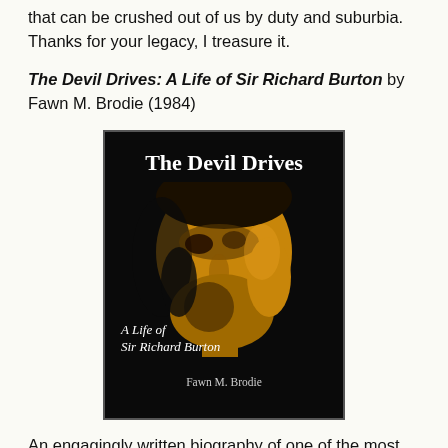that can be crushed out of us by duty and suburbia. Thanks for your legacy, I treasure it.
The Devil Drives: A Life of Sir Richard Burton by Fawn M. Brodie (1984)
[Figure (photo): Book cover of 'The Devil Drives: A Life of Sir Richard Burton' by Fawn M. Brodie — dark/black background with golden-toned portrait of a bearded man's face, white title text at top, italic subtitle and author name at bottom.]
An engagingly written biography of one of the most